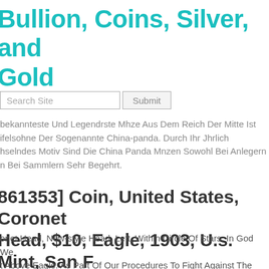Bullion, Coins, Silver, and Gold
Search Site
bekannteste Und Legendrste Mhze Aus Dem Reich Der Mitte Ist ifelsohne Der Sogenannte China-panda. Durch Ihr Jhrlich hselndes Motiv Sind Die China Panda Mnzen Sowohl Bei Anlegern n Bei Sammlern Sehr Begehrt.
[861353] Coin, United States, Coronet Head, $10, Eagle, 1903, U.s. Mint, San F
onet Head, New-style Head, Left, Within Circle Of Stars, In God We t Above Eagle. As Part Of Our Procedures To Fight Against The fficking Of Cultural Goods, The Provenance Of This Item Has Been rously Verified.